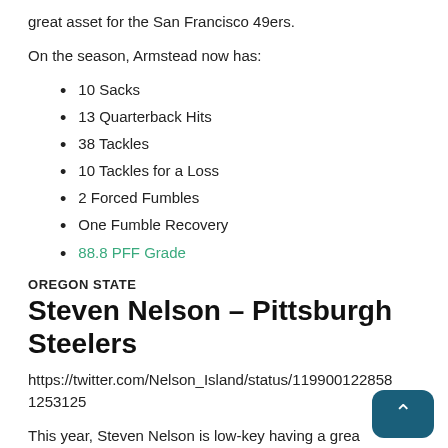great asset for the San Francisco 49ers.
On the season, Armstead now has:
10 Sacks
13 Quarterback Hits
38 Tackles
10 Tackles for a Loss
2 Forced Fumbles
One Fumble Recovery
88.8 PFF Grade
OREGON STATE
Steven Nelson – Pittsburgh Steelers
https://twitter.com/Nelson_Island/status/1199001228581253125
This year, Steven Nelson is low-key having a great season. He's top-24 in Player Profiler's Coverage Rate, Receptions Allowed, Catch Rate Allowed and Yards